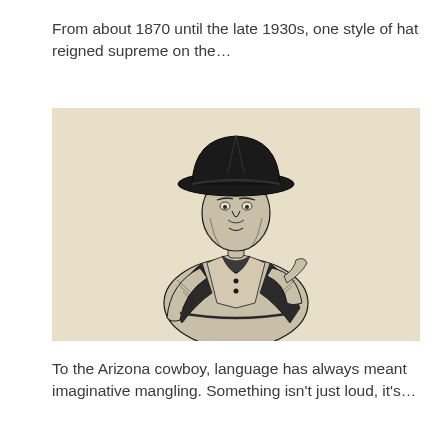From about 1870 until the late 1930s, one style of hat reigned supreme on the…
[Figure (illustration): Black and white ink illustration of an old Arizona cowboy wearing a wide-brimmed hat, depicted from the waist up, looking slightly to the right. The background has a light tan/cream papery texture. The cowboy wears a jacket with visible buttons and a kerchief around the neck.]
To the Arizona cowboy, language has always meant imaginative mangling. Something isn't just loud, it's…